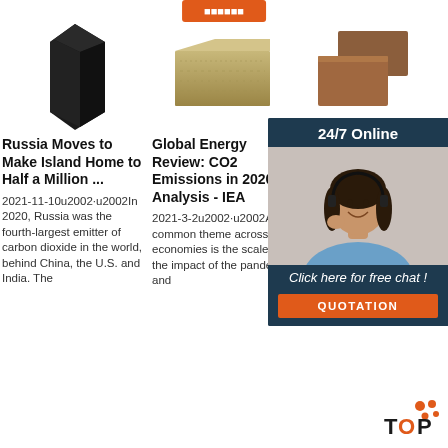[Figure (other): Orange button/bar at top of page]
[Figure (photo): Black foam/carbon block standing upright]
Russia Moves to Make Island Home to Half a Million ...
2021-11-10u2002·u2002In 2020, Russia was the fourth-largest emitter of carbon dioxide in the world, behind China, the U.S. and India. The
[Figure (photo): Piece of rock wool / mineral wool insulation block]
Global Energy Review: CO2 Emissions in 2020 – Analysis - IEA
2021-3-2u2002·u2002A common theme across all economies is the scale of the impact of the pandemic and
[Figure (photo): Cork or wood blocks stacked, partially obscured by chat widget]
Alcoa Alum
Compe... Reliab... sustain... supply... name is synonymous with innovation. Our roots date to the discovery of aluminum more than 135 years
[Figure (other): 24/7 Online chat widget with customer service representative photo, 'Click here for free chat!' text and QUOTATION button]
[Figure (logo): TOP logo with orange dots]